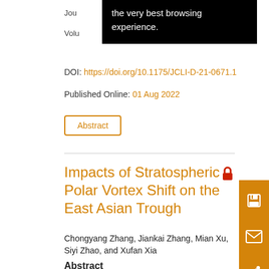the very best browsing experience.
Jou...
Volu...
DOI: https://doi.org/10.1175/JCLI-D-21-0671.1
Published Online: 01 Aug 2022
Abstract
Impacts of Stratospheric Polar Vortex Shift on the East Asian Trough
Chongyang Zhang, Jiankai Zhang, Mian Xu, Siyi Zhao, and Xufan Xia
Abstract